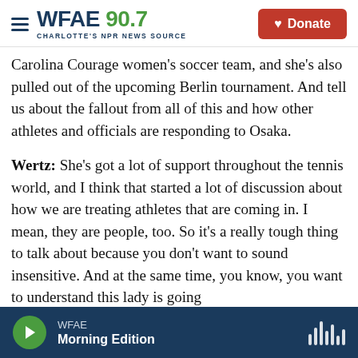WFAE 90.7 — Charlotte's NPR News Source | Donate
Carolina Courage women's soccer team, and she's also pulled out of the upcoming Berlin tournament. And tell us about the fallout from all of this and how other athletes and officials are responding to Osaka.
Wertz: She's got a lot of support throughout the tennis world, and I think that started a lot of discussion about how we are treating athletes that are coming in. I mean, they are people, too. So it's a really tough thing to talk about because you don't want to sound insensitive. And at the same time, you know, you want to understand this lady is going
WFAE — Morning Edition